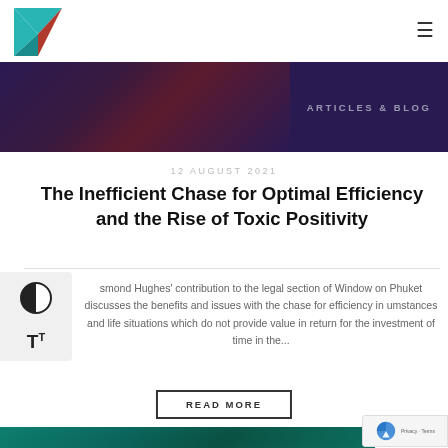[Figure (logo): Geometric logo with teal and dark red triangles]
ARTICLES & BLOG
12 AUGUST 2021
The Inefficient Chase for Optimal Efficiency and the Rise of Toxic Positivity
smond Hughes' contribution to the legal section of Window on Phuket discusses the benefits and issues with the chase for efficiency in umstances and life situations which do not provide value in return for the investment of time in the...
READ MORE
[Figure (photo): Underwater teal/green coral or reef photo at bottom of page]